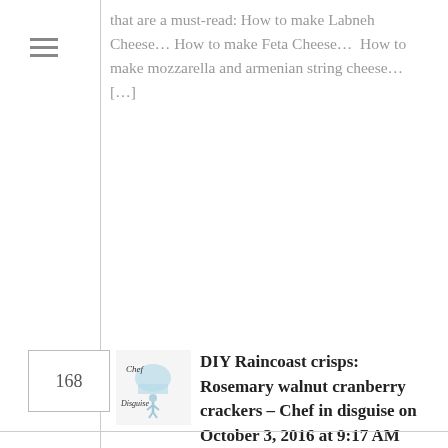that are a must-read: How to make Labneh Cheese… How to make Feta Cheese…  How to make mozzarella and armenian string cheese… […]
168
[Figure (logo): Chef in disguise blog logo — cursive text with a chef hat illustration]
DIY Raincoast crisps: Rosemary walnut cranberry crackers – Chef in disguise on October 3, 2016 at 9:17 AM
Reply
Like
[…] them as tea cakes without the 2nd toasting. I on the other hand loved them toasted with a little labneh spread on top. I think they would also be brilliant with some cheddar cheese and […]